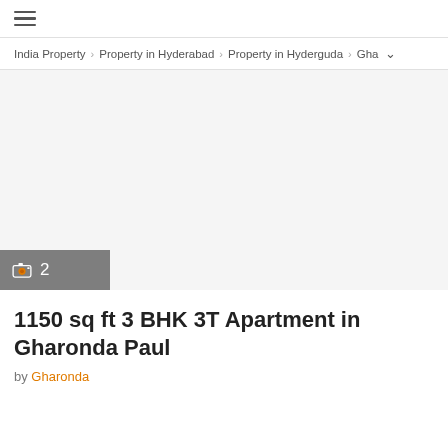≡
India Property › Property in Hyderabad › Property in Hyderguda › Gha ∨
[Figure (photo): Large property listing image area (appears blank/loading), with a grey photo badge overlay in the bottom-left showing a camera icon and the number 2]
1150 sq ft 3 BHK 3T Apartment in Gharonda Paul
by Gharonda